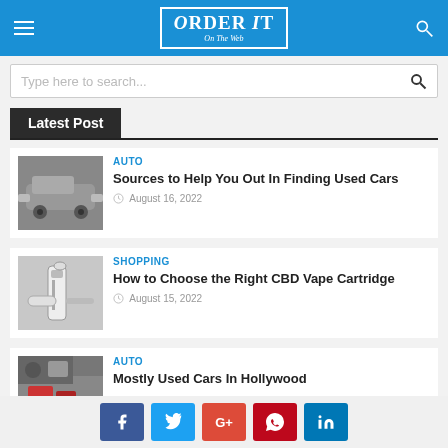Order It On The Web
Type here to search...
Latest Post
AUTO
Sources to Help You Out In Finding Used Cars
August 16, 2022
SHOPPING
How to Choose the Right CBD Vape Cartridge
August 15, 2022
AUTO
Mostly Used Cars In Hollywood